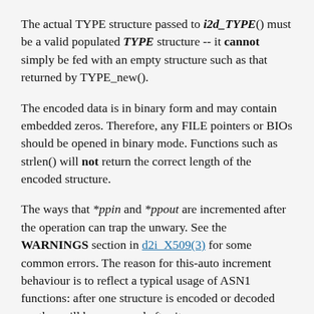The actual TYPE structure passed to i2d_TYPE() must be a valid populated TYPE structure -- it cannot simply be fed with an empty structure such as that returned by TYPE_new().
The encoded data is in binary form and may contain embedded zeros. Therefore, any FILE pointers or BIOs should be opened in binary mode. Functions such as strlen() will not return the correct length of the encoded structure.
The ways that *ppin and *ppout are incremented after the operation can trap the unwary. See the WARNINGS section in d2i_X509(3) for some common errors. The reason for this-auto increment behaviour is to reflect a typical usage of ASN1 functions: after one structure is encoded or decoded another will be processed after it.
The following points about the data types might be...